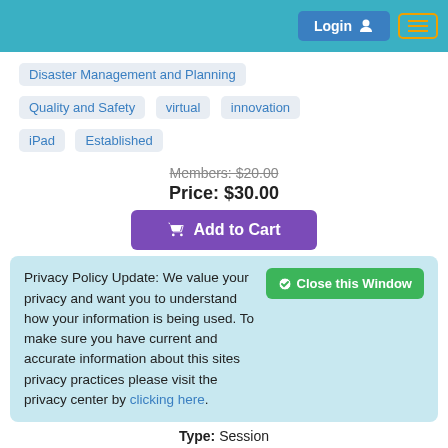Login  [menu]
Disaster Management and Planning
Quality and Safety   virtual   innovation
iPad   Established
Members: $20.00
Price: $30.00
Add to Cart
[Figure (photo): Thumbnail image for 'A to Z: Event-Focused Rapid Response Teams' course with UPMC branding on a purple background]
A to Z: Event-Focused Rapid Response Teams
Privacy Policy Update: We value your privacy and want you to understand how your information is being used. To make sure you have current and accurate information about this sites privacy practices please visit the privacy center by clicking here.
Type: Session